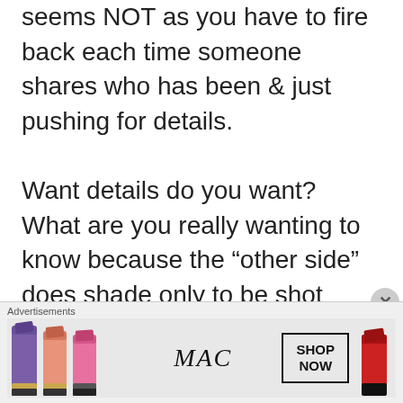seems NOT as you have to fire back each time someone shares who has been & just pushing for details.
Want details do you want? What are you really wanting to know because the “other side” does shade only to be shot down with what seems like judgments & shaming from you.
I wish for you and “Albie” the peace you need/want in life & in the
Advertisements
[Figure (photo): MAC cosmetics advertisement banner showing colorful lipsticks on the left, MAC logo in the center, a SHOP NOW button in a box, and a red lipstick on the right.]